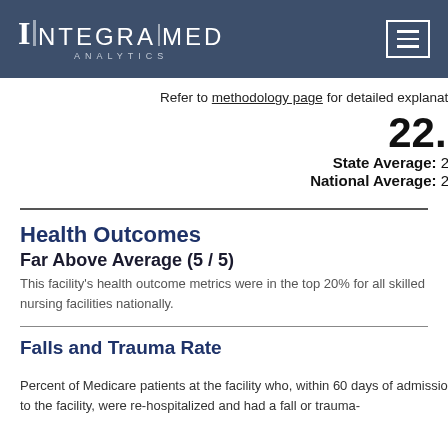INTEGRA|MED ANALYTICS
Refer to methodology page for detailed explanation.
22.2
State Average: 22.3
National Average: 20.4
Health Outcomes
Far Above Average (5 / 5)
This facility's health outcome metrics were in the top 20% for all skilled nursing facilities nationally.
Falls and Trauma Rate
Percent of Medicare patients at the facility who, within 60 days of admission to the facility, were re-hospitalized and had a fall or trauma-